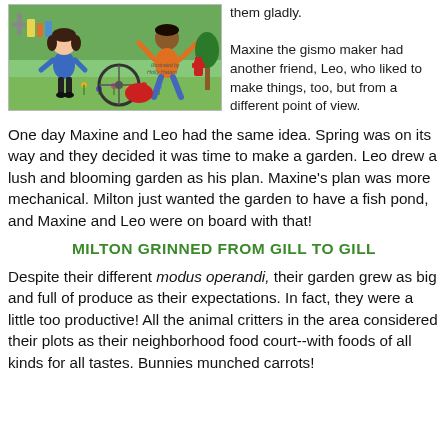[Figure (illustration): Children's book illustration showing two cartoon children (a girl in blue shirt and a boy in orange shirt) outdoors with a bicycle, flowers, and garden elements. Text 'Illustrated by Holly Hatam' visible on image.]
them gladly.

Maxine the gismo maker had another friend, Leo, who liked to make things, too, but from a different point of view.
One day Maxine and Leo had the same idea. Spring was on its way and they decided it was time to make a garden. Leo drew a lush and blooming garden as his plan. Maxine's plan was more mechanical. Milton just wanted the garden to have a fish pond, and Maxine and Leo were on board with that!
MILTON GRINNED FROM GILL TO GILL
Despite their different modus operandi, their garden grew as big and full of produce as their expectations. In fact, they were a little too productive! All the animal critters in the area considered their plots as their neighborhood food court--with foods of all kinds for all tastes. Bunnies munched carrots!